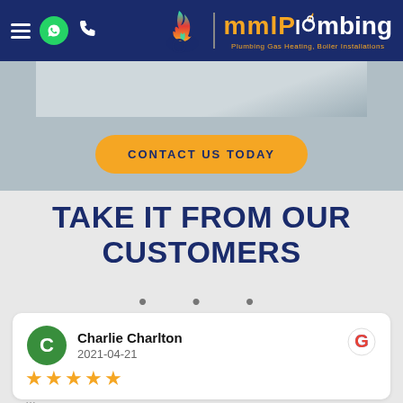[Figure (screenshot): MML Plumbing website header with navy background, hamburger menu, WhatsApp icon, phone icon, and MML Plumbing logo with flame icon and tagline]
[Figure (photo): Partial photo of plumbing/shower fixtures, gray background banner strip]
CONTACT US TODAY
TAKE IT FROM OUR CUSTOMERS
• • •
Charlie Charlton
2021-04-21
★★★★★